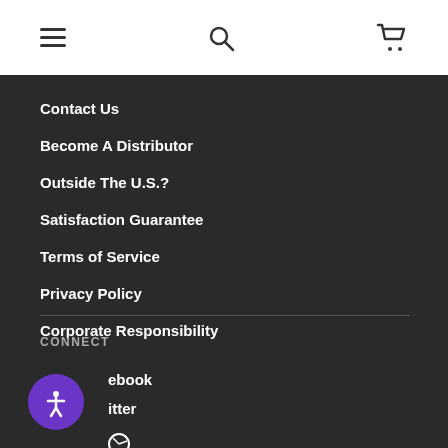Navigation header with hamburger menu, search, and cart icons
Contact Us
Become A Distributor
Outside The U.S.?
Satisfaction Guarantee
Terms of Service
Privacy Policy
Corporate Responsibility
CONNECT
Facebook
Twitter
Pinterest